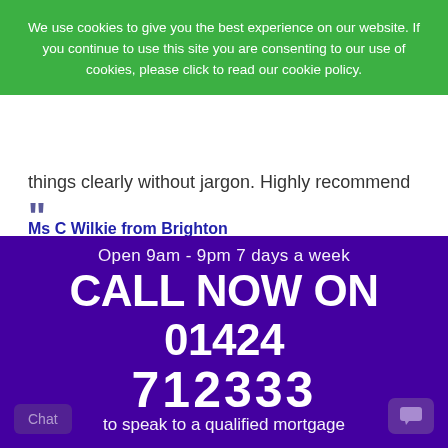We use cookies to give you the best experience on our website. If you continue to use this site you are consenting to our use of cookies, please click to read our cookie policy.
things clearly without jargon. Highly recommend
Ms C Wilkie from Brighton
Click here to see our Reviews on Google
Home | About Us | Terms & Conditions | Cookie Policy | Privacy Policy | Complaints | Contact Us
[Figure (illustration): Social media icons: Facebook, Twitter, LinkedIn — green circular icons]
Open 9am - 9pm 7 days a week
CALL NOW ON 01424
712333
to speak to a qualified mortgage